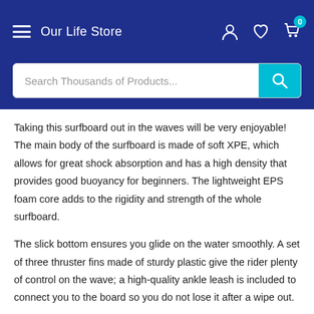Our Life Store
Search Thousands of Products...
Taking this surfboard out in the waves will be very enjoyable! The main body of the surfboard is made of soft XPE, which allows for great shock absorption and has a high density that provides good buoyancy for beginners. The lightweight EPS foam core adds to the rigidity and strength of the whole surfboard.
The slick bottom ensures you glide on the water smoothly. A set of three thruster fins made of sturdy plastic give the rider plenty of control on the wave; a high-quality ankle leash is included to connect you to the board so you do not lose it after a wipe out.